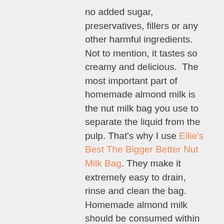no added sugar, preservatives, fillers or any other harmful ingredients. Not to mention, it tastes so creamy and delicious.  The most important part of homemade almond milk is the nut milk bag you use to separate the liquid from the pulp. That's why I use Ellie's Best The Bigger Better Nut Milk Bag. They make it extremely easy to drain, rinse and clean the bag. Homemade almond milk should be consumed within 3 days so I brought my nut milk to work in a glass bottle and shared with all of my co-workers. Everyone loved the cinnamon flavor as a substitute for creamer in their coffee. It was an absolute hit!
INGREDIENTS